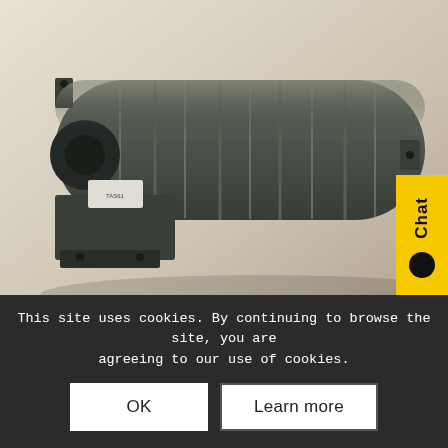[Figure (photo): Product photo of a tangential blower fan / cross-flow fan unit (TAS61), cylindrical metal fan with multiple blade sections mounted on a bracket, shown on a beige/neutral background. A yellow 'Chat' button overlay appears on the right side.]
This site uses cookies. By continuing to browse the site, you are agreeing to our use of cookies.
OK
Learn more
TAS61
£78.83 ex VA